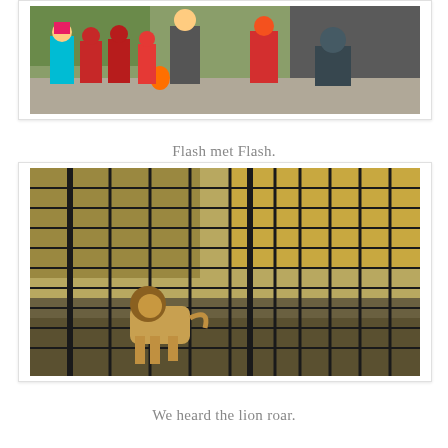[Figure (photo): Group of children in Halloween costumes including Trolls, Spider-Man, The Flash, and other superhero costumes, standing outdoors on a sidewalk]
Flash met Flash.
[Figure (photo): A lion viewed through a metal grid enclosure at a zoo, with trees in the background]
We heard the lion roar.